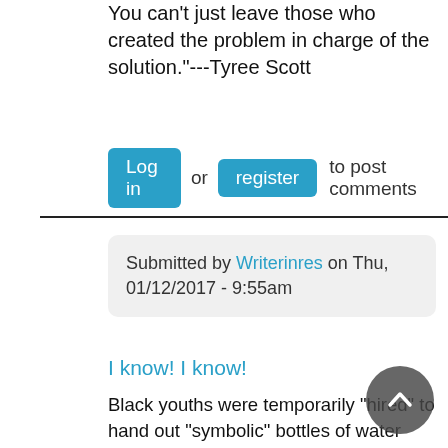You can't just leave those who created the problem in charge of the solution."---Tyree Scott
Log in or register to post comments
Submitted by Writerinres on Thu, 01/12/2017 - 9:55am
I know! I know!
Black youths were temporarily "hired" to hand out "symbolic" bottles of water around Flint, right before the debate. Good photo-ops, no? Plus, the conflation of life-giving free water with jobs for disadvantaged youths, although ephemeral, gave the impression that the jobs and water might be permanent. Once the debate was over